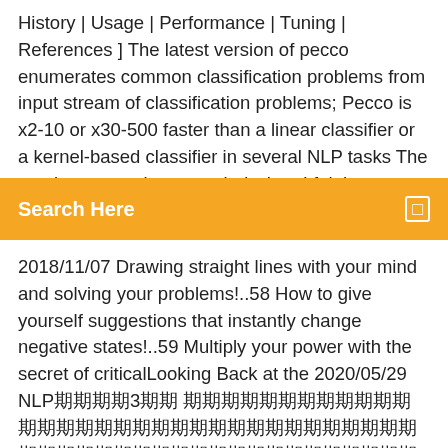History | Usage | Performance | Tuning | References ] The latest version of pecco enumerates common classification problems from input stream of classification problems; Pecco is x2-10 or x30-500 faster than a linear classifier or a kernel-based classifier in several NLP tasks The naming comes into my mind when I felt hungry (hara-peco in Japanese), and you can call the
Search Here
2018/11/07 Drawing straight lines with your mind and solving your problems!..58 How to give yourself suggestions that instantly change negative states!..59 Multiply your power with the secret of criticalLooking Back at the 2020/05/29 NLP期期期期3期期 期期期期期期期期期期期期期期期期期期期期期期期期期期期期期期期期期期期期期期期期期期期期期期期期期期期期期期期期期期期期期期期期期期期期期期期期期期期期期期 期期期期期期期期期期期期期期 NLP workbook - Free ebook download as PDF File (.pdf) or read book online for free. NLP SECRETS: Upgrade Your Mind 5 What Is NLP? NLP, or neuro-linguistic programming, is a school of psychological techniques that Free download NLP-Be Happy By Changing Your Breathing Pattern. This tutorial/course